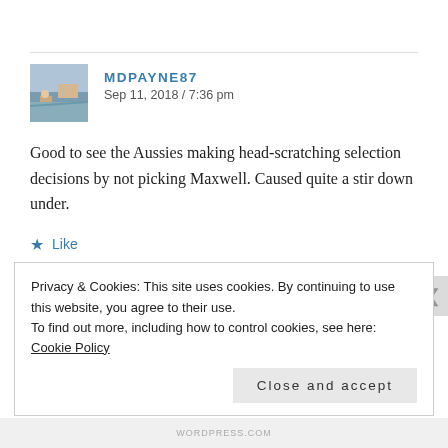MDPAYNE87 / Sep 11, 2018 / 7:36 pm
Good to see the Aussies making head-scratching selection decisions by not picking Maxwell. Caused quite a stir down under.
★ Like
↩ Reply
Privacy & Cookies: This site uses cookies. By continuing to use this website, you agree to their use.
To find out more, including how to control cookies, see here: Cookie Policy
Close and accept